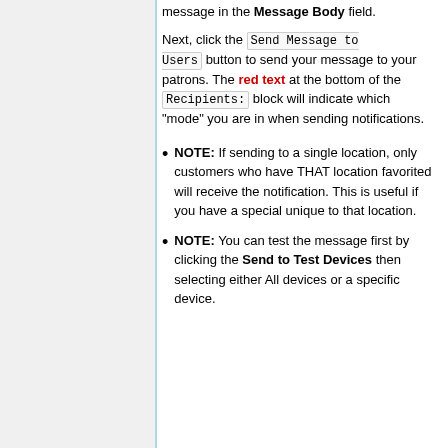message in the Message Body field.
Next, click the Send Message to Users button to send your message to your patrons. The red text at the bottom of the Recipients: block will indicate which "mode" you are in when sending notifications.
NOTE: If sending to a single location, only customers who have THAT location favorited will receive the notification. This is useful if you have a special unique to that location.
NOTE: You can test the message first by clicking the Send to Test Devices then selecting either All devices or a specific device.